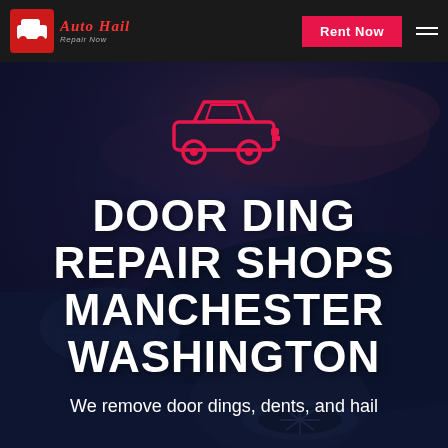Auto Hail Repair Now — Rent Now
[Figure (logo): Auto Hail Repair Now logo with red car icon and italic red brand text]
[Figure (photo): Dark dramatic photo of a car with night sky background, overlaid with semi-transparent dark blue overlay and red car SVG icon]
DOOR DING REPAIR SHOPS MANCHESTER WASHINGTON
We remove door dings, dents, and hail